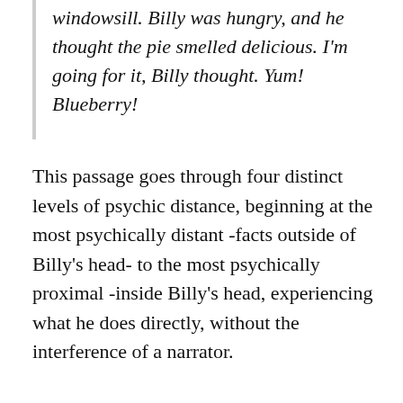windowsill. Billy was hungry, and he thought the pie smelled delicious. I'm going for it, Billy thought. Yum! Blueberry!
This passage goes through four distinct levels of psychic distance, beginning at the most psychically distant -facts outside of Billy's head- to the most psychically proximal -inside Billy's head, experiencing what he does directly, without the interference of a narrator.